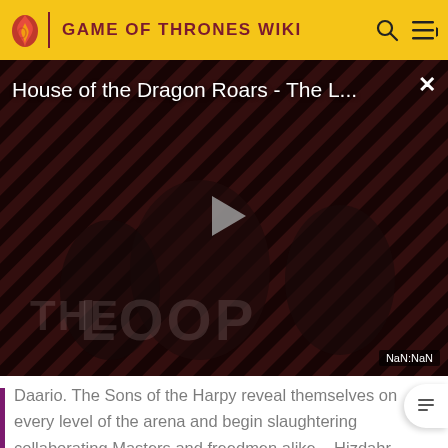GAME OF THRONES WIKI
[Figure (screenshot): Video player showing 'House of the Dragon Roars - The L...' with a play button overlay, striped red and dark background with figures visible, 'THE LOOP' text watermark, and NaN:NaN time display]
Daario. The Sons of the Harpy reveal themselves on every level of the arena and begin slaughtering collaborating Masters and freedmen alike – Hizdahr
"The Rogue Prince", the second episode of House of the Dragon, is now streaming on HBO Max.